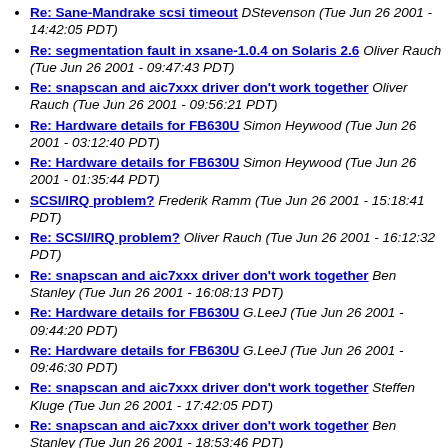Re: Sane-Mandrake scsi timeout DStevenson (Tue Jun 26 2001 - 14:42:05 PDT)
Re: segmentation fault in xsane-1.0.4 on Solaris 2.6 Oliver Rauch (Tue Jun 26 2001 - 09:47:43 PDT)
Re: snapscan and aic7xxx driver don't work together Oliver Rauch (Tue Jun 26 2001 - 09:56:21 PDT)
Re: Hardware details for FB630U Simon Heywood (Tue Jun 26 2001 - 03:12:40 PDT)
Re: Hardware details for FB630U Simon Heywood (Tue Jun 26 2001 - 01:35:44 PDT)
SCSI/IRQ problem? Frederik Ramm (Tue Jun 26 2001 - 15:18:41 PDT)
Re: SCSI/IRQ problem? Oliver Rauch (Tue Jun 26 2001 - 16:12:32 PDT)
Re: snapscan and aic7xxx driver don't work together Ben Stanley (Tue Jun 26 2001 - 16:08:13 PDT)
Re: Hardware details for FB630U G.LeeJ (Tue Jun 26 2001 - 09:44:20 PDT)
Re: Hardware details for FB630U G.LeeJ (Tue Jun 26 2001 - 09:46:30 PDT)
Re: snapscan and aic7xxx driver don't work together Steffen Kluge (Tue Jun 26 2001 - 17:42:05 PDT)
Re: snapscan and aic7xxx driver don't work together Ben Stanley (Tue Jun 26 2001 - 18:53:46 PDT)
Re: snapscan and aic7xxx driver don't work